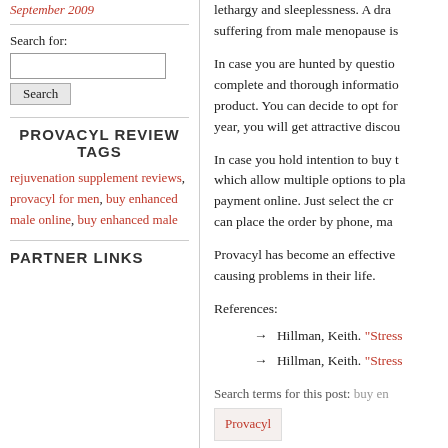September 2009
Search for:
PROVACYL REVIEW TAGS
rejuvenation supplement reviews, provacyl for men, buy enhanced male online, buy enhanced male
PARTNER LINKS
lethargy and sleeplessness. A dra... suffering from male menopause is
In case you are hunted by questio... complete and thorough informatio... product. You can decide to opt for... year, you will get attractive disco...
In case you hold intention to buy t... which allow multiple options to pla... payment online. Just select the cr... can place the order by phone, ma...
Provacyl has become an effective... causing problems in their life.
References:
→ Hillman, Keith. "Stress...
→ Hillman, Keith. "Stress...
Search terms for this post: buy en...
Provacyl